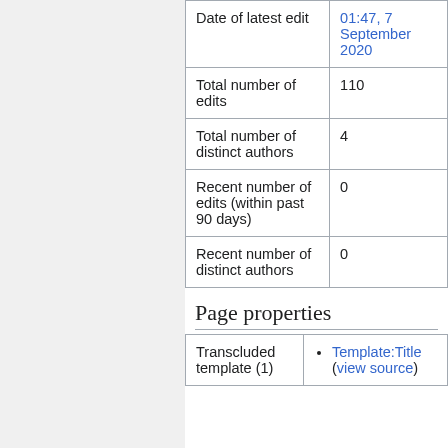|  |  |
| --- | --- |
| Date of latest edit | 01:47, 7 September 2020 |
| Total number of edits | 110 |
| Total number of distinct authors | 4 |
| Recent number of edits (within past 90 days) | 0 |
| Recent number of distinct authors | 0 |
Page properties
|  |  |
| --- | --- |
| Transcluded template (1) | Template:Title (view source) |